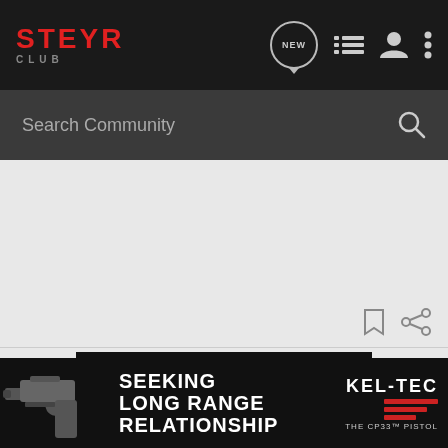[Figure (logo): Steyr Club logo - red bold STEYR text with CLUB below in gray letters on dark background]
[Figure (screenshot): Navigation bar with NEW chat icon, list icon, user icon, and three-dots menu icon on dark background]
Search Community
[Figure (logo): SOG brand logo in large white bold letters on black background, with a blue SOG knife/tool below]
[Figure (infographic): Kel-Tec CP33 pistol advertisement banner reading SEEKING LONG RANGE RELATIONSHIP with pistol image and KEL-TEC logo with red stripes]